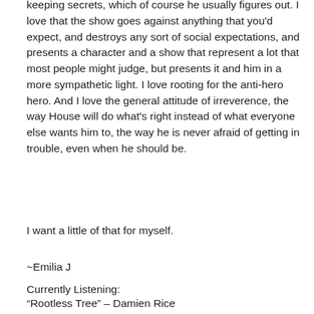keeping secrets, which of course he usually figures out. I love that the show goes against anything that you'd expect, and destroys any sort of social expectations, and presents a character and a show that represent a lot that most people might judge, but presents it and him in a more sympathetic light. I love rooting for the anti-hero hero. And I love the general attitude of irreverence, the way House will do what's right instead of what everyone else wants him to, the way he is never afraid of getting in trouble, even when he should be.
I want a little of that for myself.
~Emilia J
Currently Listening:
“Rootless Tree” – Damien Rice